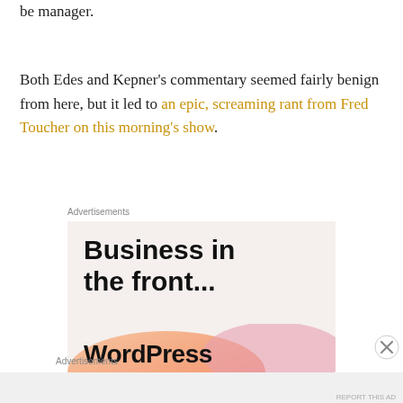be manager. Both Edes and Kepner's commentary seemed fairly benign from here, but it led to an epic, screaming rant from Fred Toucher on this morning's show.
Advertisements
[Figure (other): Advertisement banner reading 'Business in the front...' with WordPress logo on a gradient background]
Advertisements